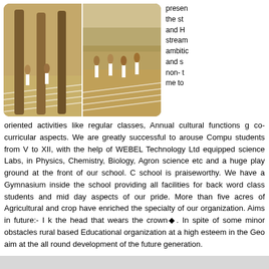[Figure (photo): Two side-by-side photos of students/athletes running or performing on a sandy track field, wearing white uniforms; wooden poles visible in foreground left photo.]
presen the st and H stream ambitic and s non- t me to oriented activities like regular classes, Annual cultural functions g co-curricular aspects. We are greatly successful to arouse Compu students from V to XII, with the help of WEBEL Technology Ltd equipped science Labs, in Physics, Chemistry, Biology, Agron science etc and a huge play ground at the front of our school. C school is praiseworthy. We have a Gymnasium inside the school providing all facilities for back word class students and mid day aspects of our pride. More than five acres of Agricultural and crop have enriched the specialty of our organization. Aims in future:- I k the head that wears the crown◆. In spite of some minor obstacles rural based Educational organization at a high esteem in the Geo aim at the all round development of the future generation.